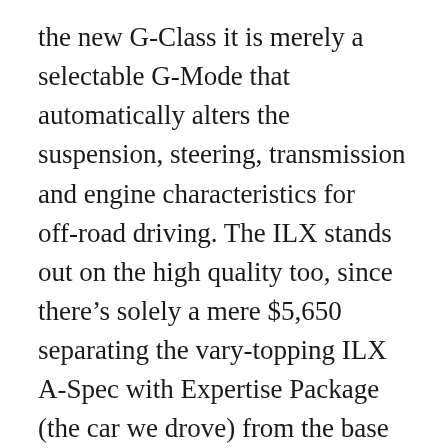the new G-Class it is merely a selectable G-Mode that automatically alters the suspension, steering, transmission and engine characteristics for off-road driving. The ILX stands out on the high quality too, since there's solely a mere $5,650 separating the vary-topping ILX A-Spec with Expertise Package (the car we drove) from the base mannequin. FordPass may additionally use tracking technologies that collect information about how FordPass is used and how it's performing together with if it crashes, and which may be able to be connected throughout units and over time. However the TLX A-Spec is a great automobile to drive all by itself, regardless of how expensive the automobile driving. Ending